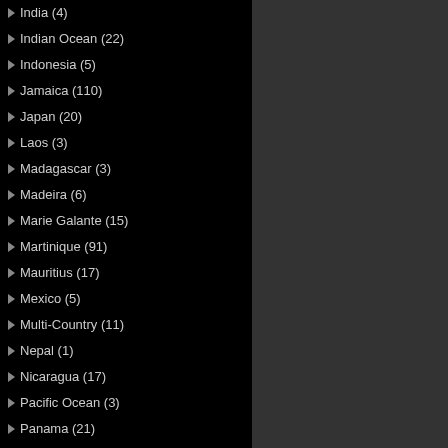India (4)
Indian Ocean (22)
Indonesia (5)
Jamaica (110)
Japan (20)
Laos (3)
Madagascar (3)
Madeira (6)
Marie Galante (15)
Martinique (91)
Mauritius (17)
Mexico (5)
Multi-Country (11)
Nepal (1)
Nicaragua (17)
Pacific Ocean (3)
Panama (21)
Paraguay (1)
Peru (6)
Phillipines (8)